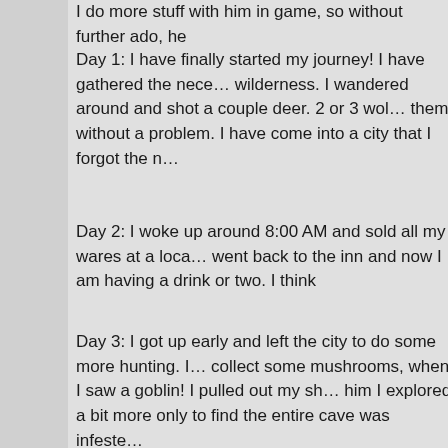I do more stuff with him in game, so without further ado, he
Day 1: I have finally started my journey! I have gathered the necessary supplies and headed off into the wilderness. I wandered around and shot a couple deer. 2 or 3 wolves came to bother me but I handled them without a problem. I have come into a city that I forgot the name of.
Day 2: I woke up around 8:00 AM and sold all my wares at a local market for a fair price. I then went back to the inn and now I am having a drink or two. I think
Day 3: I got up early and left the city to do some more hunting. I also stopped to collect some mushrooms, when I saw a goblin! I pulled out my sh... After killing him I explored a bit more only to find the entire cave was infeste